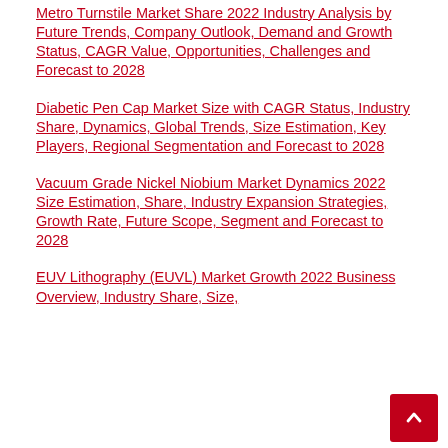Metro Turnstile Market Share 2022 Industry Analysis by Future Trends, Company Outlook, Demand and Growth Status, CAGR Value, Opportunities, Challenges and Forecast to 2028
Diabetic Pen Cap Market Size with CAGR Status, Industry Share, Dynamics, Global Trends, Size Estimation, Key Players, Regional Segmentation and Forecast to 2028
Vacuum Grade Nickel Niobium Market Dynamics 2022 Size Estimation, Share, Industry Expansion Strategies, Growth Rate, Future Scope, Segment and Forecast to 2028
EUV Lithography (EUVL) Market Growth 2022 Business Overview, Industry Share, Size,